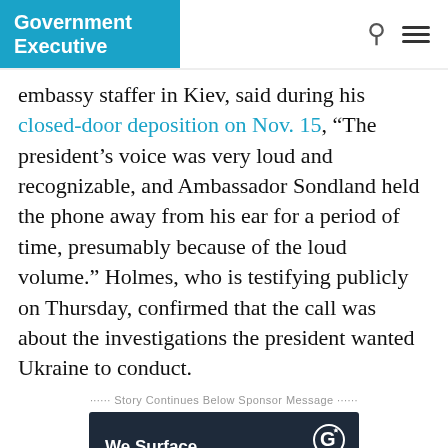Government Executive
embassy staffer in Kiev, said during his closed-door deposition on Nov. 15, “The president’s voice was very loud and recognizable, and Ambassador Sondland held the phone away from his ear for a period of time, presumably because of the loud volume.” Holmes, who is testifying publicly on Thursday, confirmed that the call was about the investigations the president wanted Ukraine to conduct.
Story Continues Below Sponsor Message
[Figure (advertisement): Dark navy advertisement with Govini logo (G with star), text: We Surface Opportunities Earlier. You Grow Your Business Faster. Find Out How button.]
“I remember overstating…